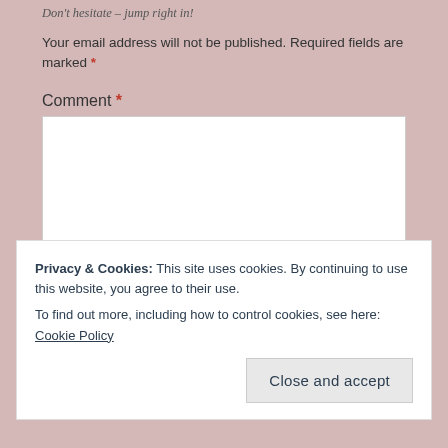Don't hesitate – jump right in!
Your email address will not be published. Required fields are marked *
Comment *
[Figure (screenshot): Empty white comment text area input box]
Privacy & Cookies: This site uses cookies. By continuing to use this website, you agree to their use.
To find out more, including how to control cookies, see here: Cookie Policy
Close and accept